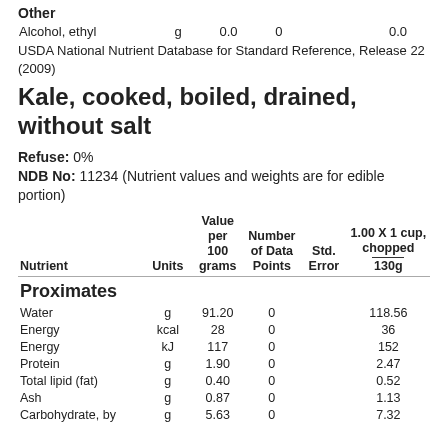Other
| Nutrient | Units | Value per 100 grams | Number of Data Points | Std. Error | 1.00 X 1 cup, chopped — 130g |
| --- | --- | --- | --- | --- | --- |
| Alcohol, ethyl | g | 0.0 | 0 |  | 0.0 |
USDA National Nutrient Database for Standard Reference, Release 22 (2009)
Kale, cooked, boiled, drained, without salt
Refuse: 0%
NDB No: 11234 (Nutrient values and weights are for edible portion)
| Nutrient | Units | Value per 100 grams | Number of Data Points | Std. Error | 1.00 X 1 cup, chopped — 130g |
| --- | --- | --- | --- | --- | --- |
| Water | g | 91.20 | 0 |  | 118.56 |
| Energy | kcal | 28 | 0 |  | 36 |
| Energy | kJ | 117 | 0 |  | 152 |
| Protein | g | 1.90 | 0 |  | 2.47 |
| Total lipid (fat) | g | 0.40 | 0 |  | 0.52 |
| Ash | g | 0.87 | 0 |  | 1.13 |
| Carbohydrate, by | g | 5.63 | 0 |  | 7.32 |